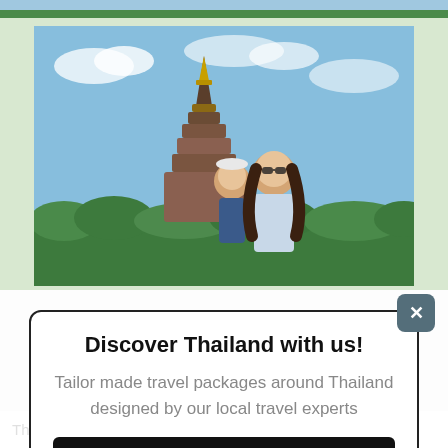[Figure (photo): Partial top strip of a travel photo showing sky and greenery]
[Figure (photo): Two people (a child and a woman) posing in front of a tall Thai pagoda/stupa against a blue sky with green hedges in the background]
Discover Thailand with us!
Tailor made travel packages around Thailand designed by our local travel experts
🇹🇭 Request a Quotation ✈️
The ideal time of the year to visit Doi